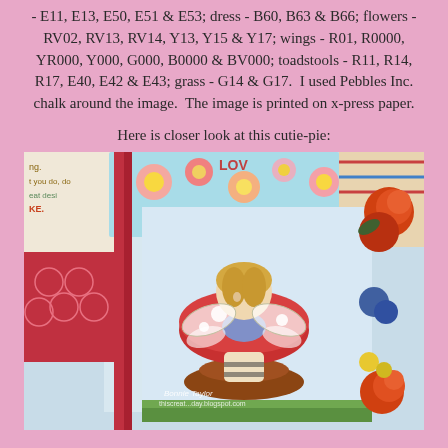- E11, E13, E50, E51 & E53; dress - B60, B63 & B66; flowers - RV02, RV13, RV14, Y13, Y15 & Y17; wings - R01, R0000, YR000, Y000, G000, B0000 & BV000; toadstools - R11, R14, R17, E40, E42 & E43; grass - G14 & G17.  I used Pebbles Inc. chalk around the image.  The image is printed on x-press paper.
Here is closer look at this cutie-pie:
[Figure (photo): Close-up photo of a handmade craft card featuring a fairy character sitting on a red mushroom/toadstool, with wings, blonde hair, and a blue dress. The card has red ribbon/strip embellishments, patterned paper backgrounds with flowers and text, and decorative orange/red roses in the corners. Watermark reads 'Bonnie Taylor thiscreat...day.blogspot.com']